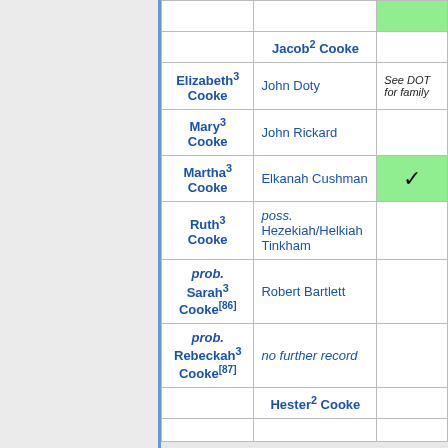|  | Jacob² Cooke |  |
| Elizabeth³ Cooke | John Doty | See DOT for family |
| Mary³ Cooke | John Rickard |  |
| Martha³ Cooke | Elkanah Cushman | ✓ |
| Ruth³ Cooke | poss. Hezekiah/Helkiah Tinkham |  |
| prob. Sarah³ Cooke[86] | Robert Bartlett |  |
| prob. Rebeckah³ Cooke[87] | no further record |  |
|  | Hester² Cooke |  |